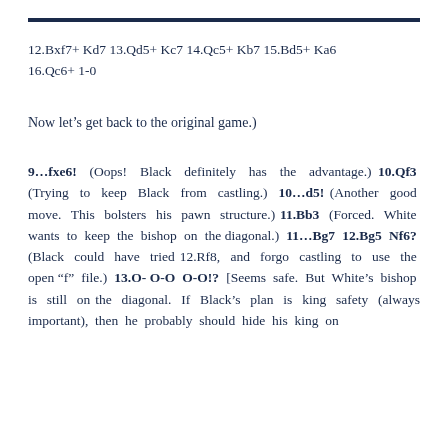12.Bxf7+ Kd7 13.Qd5+ Kc7 14.Qc5+ Kb7 15.Bd5+ Ka6 16.Qc6+ 1-0
Now let’s get back to the original game.)
9…fxe6! (Oops! Black definitely has the advantage.) 10.Qf3 (Trying to keep Black from castling.) 10…d5! (Another good move. This bolsters his pawn structure.) 11.Bb3 (Forced. White wants to keep the bishop on the diagonal.) 11…Bg7 12.Bg5 Nf6? (Black could have tried 12.Rf8, and forgo castling to use the open “f” file.) 13.O-O-O O-O!? [Seems safe. But White’s bishop is still on the diagonal. If Black’s plan is king safety (always important), then he probably should hide his king on